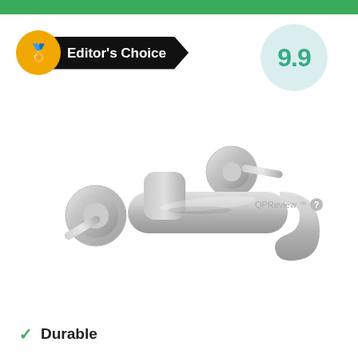Editor's Choice
9.9
[Figure (photo): Chrome wall-mount bathroom faucet with two handles and a curved spout, shown against a white background]
QPReview™
Durable